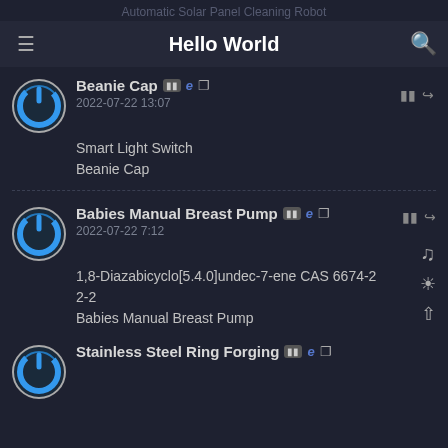Automatic Solar Panel Cleaning Robot
Hello World
Beanie Cap | 2022-07-22 13:07 | Smart Light Switch | Beanie Cap
Babies Manual Breast Pump | 2022-07-22 7:12 | 1,8-Diazabicyclo[5.4.0]undec-7-ene CAS 6674-2 2-2 | Babies Manual Breast Pump
Stainless Steel Ring Forging